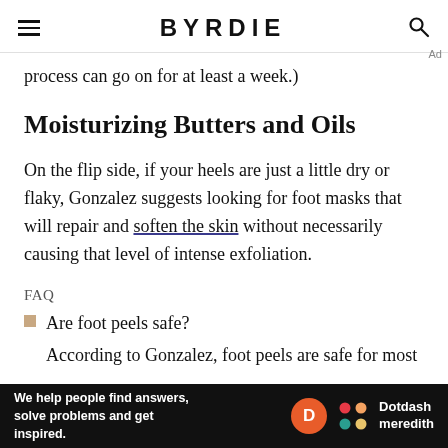BYRDIE
process can go on for at least a week.)
Moisturizing Butters and Oils
On the flip side, if your heels are just a little dry or flaky, Gonzalez suggests looking for foot masks that will repair and soften the skin without necessarily causing that level of intense exfoliation.
FAQ
Are foot peels safe?
According to Gonzalez, foot peels are safe for most
[Figure (other): Dotdash Meredith advertisement banner at the bottom of the page reading 'We help people find answers, solve problems and get inspired.' with the Dotdash Meredith logo.]